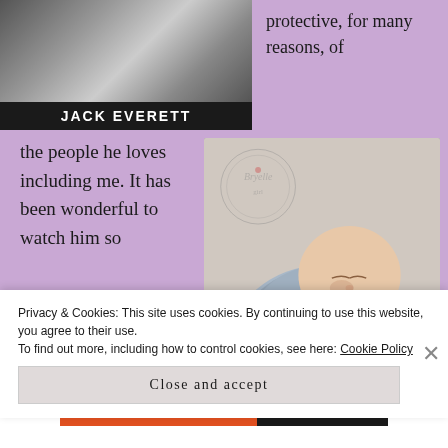[Figure (photo): Book cover with black and white photo and author name JACK EVERETT in white text on black bar]
protective, for many reasons, of
the people he loves including me. It has been wonderful to watch him so
[Figure (photo): Photo of a sleeping newborn baby wrapped in blue knit blanket in a white wicker basket, with a watermark logo overlay]
Privacy & Cookies: This site uses cookies. By continuing to use this website, you agree to their use.
To find out more, including how to control cookies, see here: Cookie Policy
Close and accept